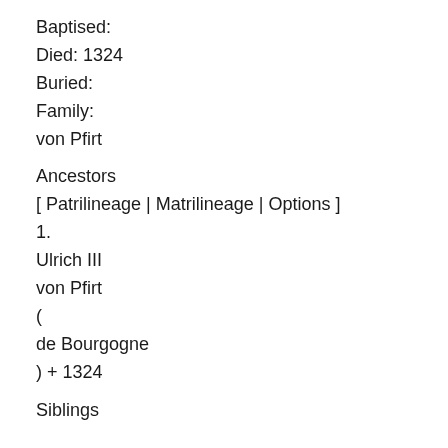Baptised:
Died: 1324
Buried:
Family:
von Pfirt
Ancestors
[ Patrilineage | Matrilineage | Options ]
1.
Ulrich III
von Pfirt
(
de Bourgogne
) + 1324
Siblings